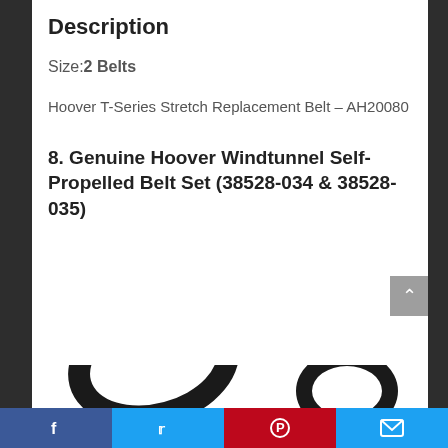Description
Size:2 Belts
Hoover T-Series Stretch Replacement Belt – AH20080
8. Genuine Hoover Windtunnel Self-Propelled Belt Set (38528-034 & 38528-035)
[Figure (photo): Two black vacuum cleaner belts shown at the bottom of the page, one large oval belt on the left and one smaller oval belt on the right]
Facebook  Twitter  Pinterest  Email